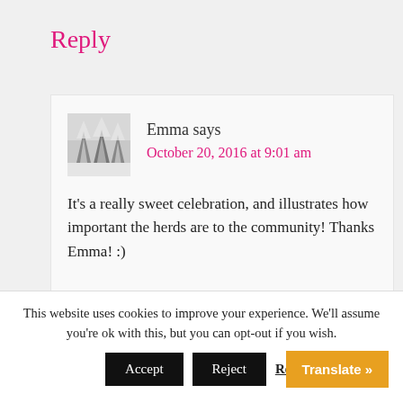Reply
Emma says
October 20, 2016 at 9:01 am
It's a really sweet celebration, and illustrates how important the herds are to the community! Thanks Emma! :)
This website uses cookies to improve your experience. We'll assume you're ok with this, but you can opt-out if you wish.
Accept | Reject | Read | Translate »